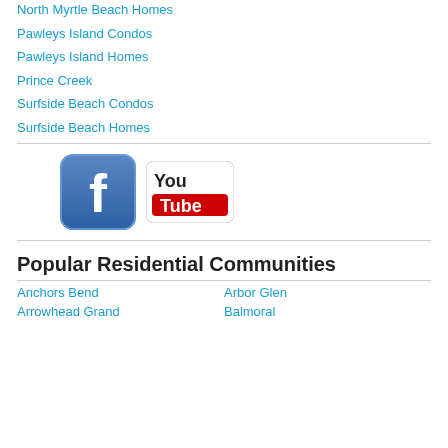North Myrtle Beach Homes
Pawleys Island Condos
Pawleys Island Homes
Prince Creek
Surfside Beach Condos
Surfside Beach Homes
[Figure (logo): Facebook logo icon (blue rounded square with white f) and YouTube logo icon (white rounded rectangle with red YouTube bar and white text)]
Popular Residential Communities
Anchors Bend
Arbor Glen
Arrowhead Grand
Balmoral